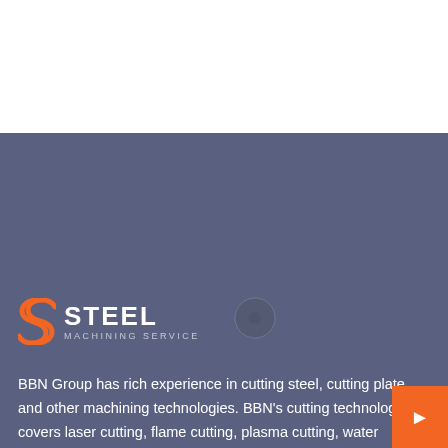[Figure (logo): Steel Machining Service logo with orange S icon and white text]
BBN Group has rich experience in cutting steel, cutting plate and other machining technologies. BBN's cutting technology covers laser cutting, flame cutting, plasma cutting, water cutting, etc.
OPENING HOURS